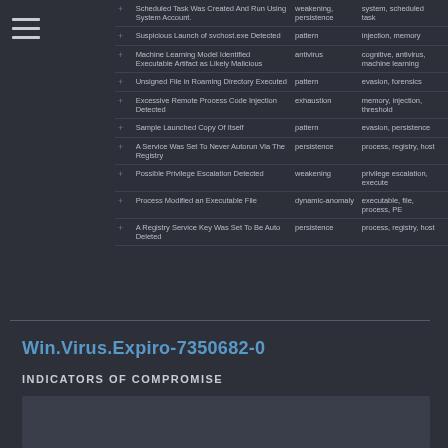|  | Alert Name | Type | Tags | Count | Score |
| --- | --- | --- | --- | --- | --- |
| + | Scheduled Task Was Created And Run Using System Account. | weakening, persistence | system, scheduled task | 1 | 39 |
| + | Suspicious Launch of svchost.exe Detected | pattern | injection, memory | 2 | 45 |
| + | Machine Learning Model Identified Executable Artifact as Likely Malicious | antivirus | cognitive, antivirus, machine learning | 3 | 81 |
| + | Unsigned File in Roaming Directory Executed | pattern | evasion, forensics | 2 | 43 |
| + | Excessive Remote Process Code Injection Detected | exhaustion | memory, injection, threshold | 2 | 88 |
| + | Sample Launched Copy Of Itself | pattern | evasion, persistence | 2 | 71 |
| + | A Service Was Set To Never Autorun Via The Registry | persistence | process, registry, host | 1 | 70 |
| + | Possible Privilege Escalation Detected | weakening | privilege escalation, execute | 1 | 64 |
| + | Process Modified an Executable File | dynamic-anomaly | executable, file, process, PE | 1 | 60 |
| + | A Registry Service Key Was Set To Be Auto Deleted | persistence | process, registry, host | 1 | 80 |
Win.Virus.Expiro-7350682-0
INDICATORS OF COMPROMISE
| REGISTRY KEYS | O C C U R |
| --- | --- |